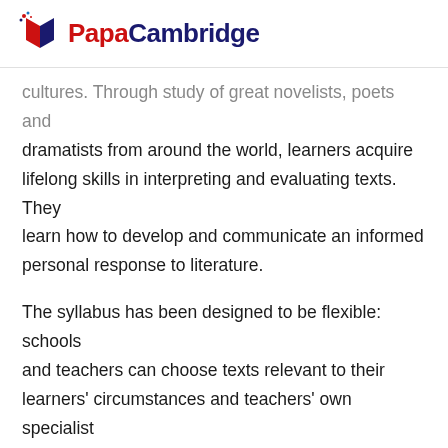PapaCambridge
cultures. Through study of great novelists, poets and dramatists from around the world, learners acquire lifelong skills in interpreting and evaluating texts. They learn how to develop and communicate an informed personal response to literature.
The syllabus has been designed to be flexible: schools and teachers can choose texts relevant to their learners' circumstances and teachers' own specialist interests. The aims of the syllabus are to develop learners' ability to enjoy, understand and respond to literature written in English or in English translation from different countries and cultures.